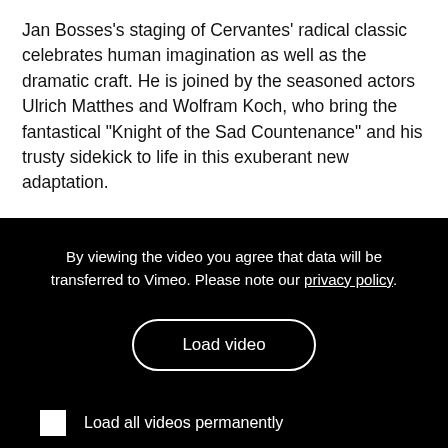Jan Bosses's staging of Cervantes' radical classic celebrates human imagination as well as the dramatic craft. He is joined by the seasoned actors Ulrich Matthes and Wolfram Koch, who bring the fantastical “Knight of the Sad Countenance” and his trusty sidekick to life in this exuberant new adaptation.
[Figure (screenshot): Black video placeholder panel with cookie/privacy notice text, a 'Load video' button with rounded border, and a 'Load all videos permanently' option with a white checkbox.]